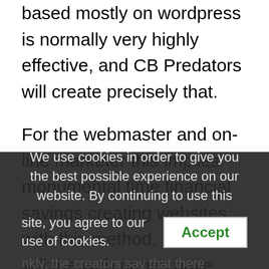based mostly on wordpress is normally very highly effective, and CB Predators will create precisely that.
For the webmaster and on-line marketer this implies monumental time financial savings creating websites with this method. Not solely will the web pages have already got content material like product opinions, making tedious writing of content material for a web site out of date. The system will even save time with reference to website positioning efforts which in any other case are mandatory if websites are created the outdated manner. In truth, the creators say that there
We use cookies in order to give you the best possible experience on our website. By continuing to use this site, you agree to our use of cookies.
Accept